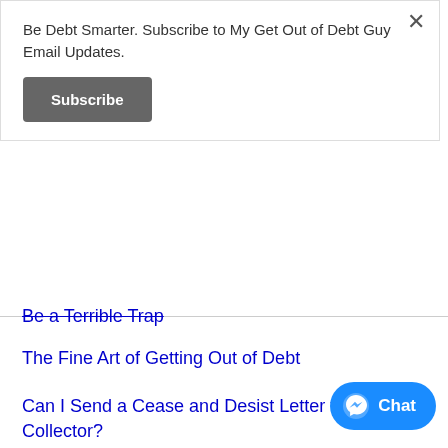Be Debt Smarter. Subscribe to My Get Out of Debt Guy Email Updates.
Subscribe
Be a Terrible Trap
The Fine Art of Getting Out of Debt
Can I Send a Cease and Desist Letter to a Debt Collector?
Chat